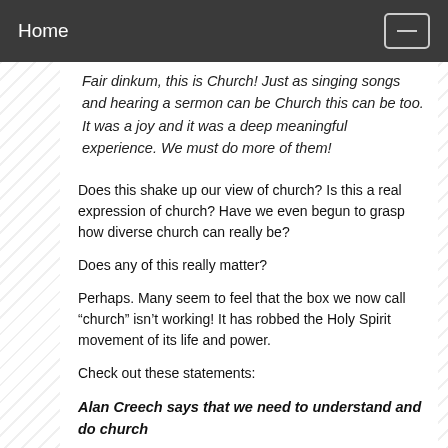Home
Fair dinkum, this is Church! Just as singing songs and hearing a sermon can be Church this can be too. It was a joy and it was a deep meaningful experience. We must do more of them!
Does this shake up our view of church? Is this a real expression of church? Have we even begun to grasp how diverse church can really be?
Does any of this really matter?
Perhaps. Many seem to feel that the box we now call “church” isn’t working! It has robbed the Holy Spirit movement of its life and power.
Check out these statements:
Alan Creech says that we need to understand and do church